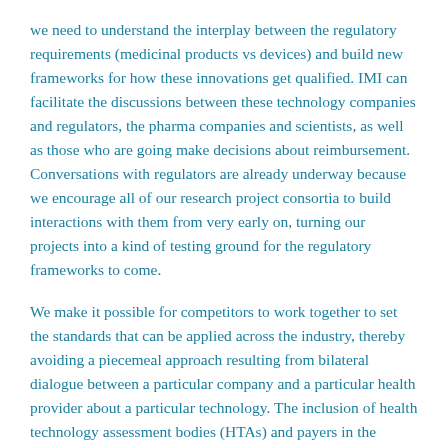we need to understand the interplay between the regulatory requirements (medicinal products vs devices) and build new frameworks for how these innovations get qualified. IMI can facilitate the discussions between these technology companies and regulators, the pharma companies and scientists, as well as those who are going make decisions about reimbursement. Conversations with regulators are already underway because we encourage all of our research project consortia to build interactions with them from very early on, turning our projects into a kind of testing ground for the regulatory frameworks to come.
We make it possible for competitors to work together to set the standards that can be applied across the industry, thereby avoiding a piecemeal approach resulting from bilateral dialogue between a particular company and a particular health provider about a particular technology. The inclusion of health technology assessment bodies (HTAs) and payers in the discussions is of course, vital; with a plethora of different